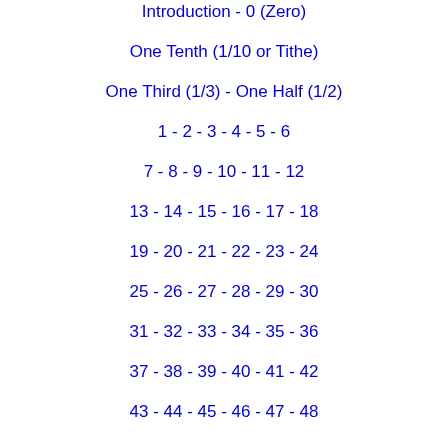Introduction  -  0 (Zero)
One Tenth (1/10 or Tithe)
One Third (1/3)  -  One Half (1/2)
1  -  2  -  3  -  4  -  5  -  6
7  -  8  -  9  -  10  -  11  -  12
13  -  14  -  15  -  16  -  17  -  18
19  -  20  -  21  -  22  -  23  -  24
25  -  26  -  27  -  28  -  29  -  30
31  -  32  -  33  -  34  -  35  -  36
37  -  38  -  39  -  40  -  41  -  42
43  -  44  -  45  -  46  -  47  -  48